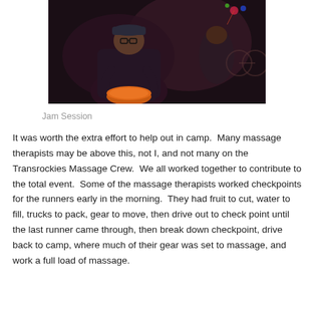[Figure (photo): A person wearing a cap and glasses playing a drum or bongo at a nighttime jam session, with another person visible in the background near what appears to be a bicycle.]
Jam Session
It was worth the extra effort to help out in camp.  Many massage therapists may be above this, not I, and not many on the Transrockies Massage Crew.  We all worked together to contribute to the total event.  Some of the massage therapists worked checkpoints for the runners early in the morning.  They had fruit to cut, water to fill, trucks to pack, gear to move, then drive out to check point until the last runner came through, then break down checkpoint, drive back to camp, where much of their gear was set to massage, and work a full load of massage.